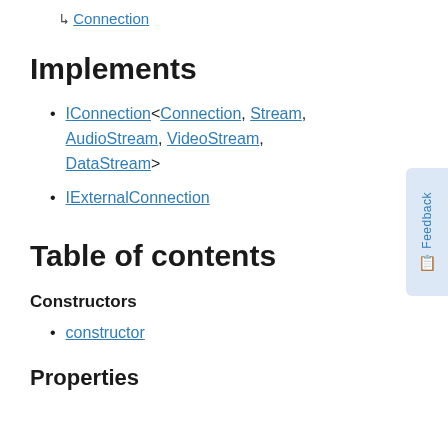↳ Connection
Implements
IConnection<Connection, Stream, AudioStream, VideoStream, DataStream>
IExternalConnection
Table of contents
Constructors
constructor
Properties